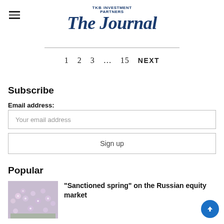TKB INVESTMENT PARTNERS — The Journal
1  2  3  ...  15  NEXT
Subscribe
Email address:
Your email address
Sign up
Popular
“Sanctioned spring” on the Russian equity market